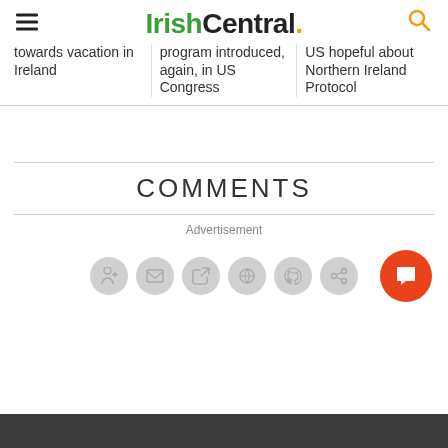IrishCentral.
towards vacation in Ireland
program introduced, again, in US Congress
US hopeful about Northern Ireland Protocol
COMMENTS
Advertisement